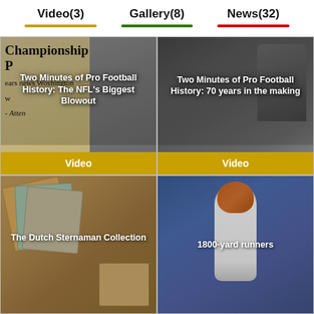Video(3)  Gallery(8)  News(32)
[Figure (screenshot): Navigation tab bar showing Video(3) with gold underline, Gallery(8) with green underline, News(32) with red underline]
[Figure (photo): Card showing newspaper 'Championship P[aper]' headline overlay with title 'Two Minutes of Pro Football History: The NFL's Biggest Blowout' and gold Video badge]
[Figure (photo): Card showing black and white football player photo with title 'Two Minutes of Pro Football History: 70 years in the making' and gold Video badge]
[Figure (photo): Card showing archive folders/documents with title 'The Dutch Sternaman Collection']
[Figure (photo): Card showing color photo of football player #32 running with title '1800-yard runners']